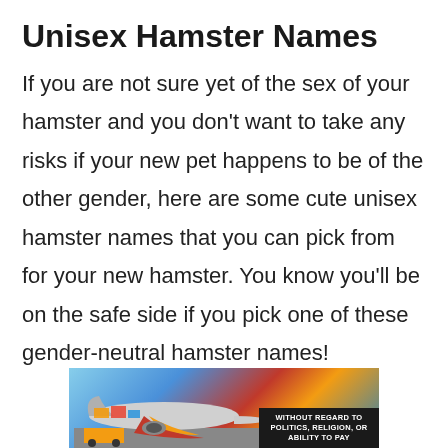Unisex Hamster Names
If you are not sure yet of the sex of your hamster and you don't want to take any risks if your new pet happens to be of the other gender, here are some cute unisex hamster names that you can pick from for your new hamster. You know you'll be on the safe side if you pick one of these gender-neutral hamster names!
[Figure (photo): Advertisement banner showing an airplane being loaded with cargo, with a dark overlay box containing text 'WITHOUT REGARD TO POLITICS, RELIGION, OR ABILITY TO PAY']